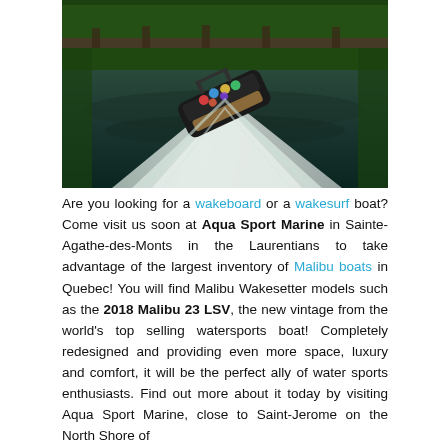[Figure (photo): Aerial/overhead view of a dark Malibu wakeboard/wakesurf boat speeding on a river or lake under a bridge, with passengers on board, creating a large wake. Lush green trees and a bridge structure visible in background.]
Are you looking for a wakeboard or a wakesurf boat? Come visit us soon at Aqua Sport Marine in Sainte-Agathe-des-Monts in the Laurentians to take advantage of the largest inventory of Malibu boats in Quebec! You will find Malibu Wakesetter models such as the 2018 Malibu 23 LSV, the new vintage from the world's top selling watersports boat! Completely redesigned and providing even more space, luxury and comfort, it will be the perfect ally of water sports enthusiasts. Find out more about it today by visiting Aqua Sport Marine, close to Saint-Jerome on the North Shore of